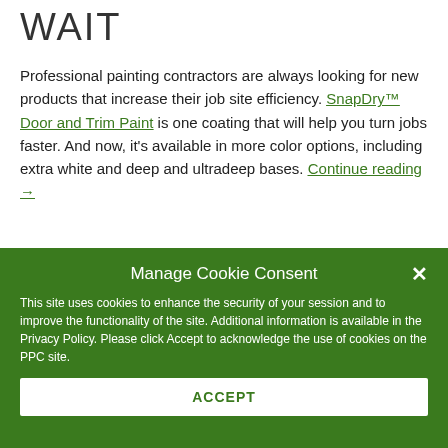WAIT
Professional painting contractors are always looking for new products that increase their job site efficiency. SnapDry™ Door and Trim Paint is one coating that will help you turn jobs faster. And now, it's available in more color options, including extra white and deep and ultradeep bases. Continue reading →
Manage Cookie Consent
This site uses cookies to enhance the security of your session and to improve the functionality of the site. Additional information is available in the Privacy Policy. Please click Accept to acknowledge the use of cookies on the PPC site.
ACCEPT